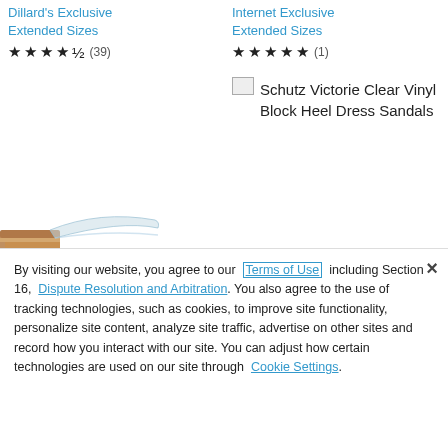Dillard's Exclusive Extended Sizes
★★★★½ (39)
Internet Exclusive Extended Sizes
★★★★★ (1)
[Figure (photo): Broken image placeholder for Schutz Victorie Clear Vinyl Block Heel Dress Sandals]
Schutz Victorie Clear Vinyl Block Heel Dress Sandals
[Figure (photo): Partial photo of a clear vinyl block heel sandal on a wooden block heel, cropped]
By visiting our website, you agree to our Terms of Use including Section 16, Dispute Resolution and Arbitration. You also agree to the use of tracking technologies, such as cookies, to improve site functionality, personalize site content, analyze site traffic, advertise on other sites and record how you interact with our site. You can adjust how certain technologies are used on our site through Cookie Settings.